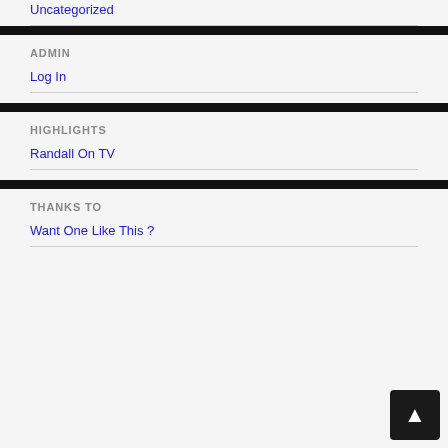Uncategorized
ADMIN
Log In
HIGHLIGHTS
Randall On TV
THANKS TO
Want One Like This ?